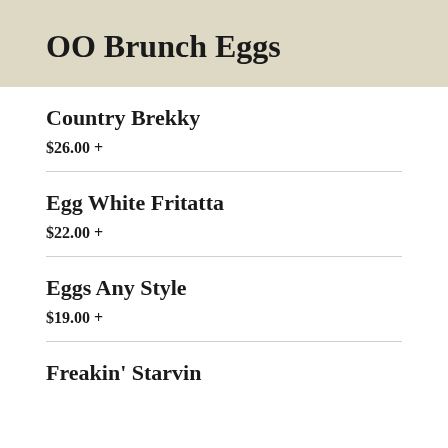OO Brunch Eggs
Country Brekky
$26.00 +
Egg White Fritatta
$22.00 +
Eggs Any Style
$19.00 +
Freakin' Starvin